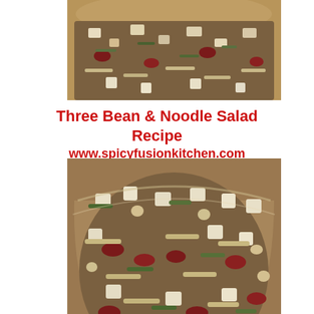[Figure (photo): Top portion of a bowl of three bean and noodle salad, cropped at top of page]
Three Bean & Noodle Salad Recipe
www.spicyfusionkitchen.com
[Figure (photo): Full bowl of three bean and noodle salad with red kidney beans, chickpeas, noodles, herbs, and tofu cubes in a glass bowl]
I really hope you enjoy this quick three bean and noodle salad recipe,
sure to Subscribe to my or email dates on recipe